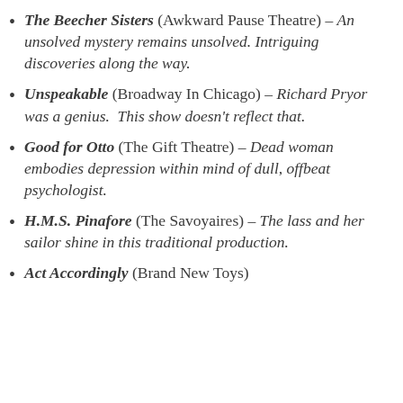The Beecher Sisters (Awkward Pause Theatre) – An unsolved mystery remains unsolved. Intriguing discoveries along the way.
Unspeakable (Broadway In Chicago) – Richard Pryor was a genius. This show doesn't reflect that.
Good for Otto (The Gift Theatre) – Dead woman embodies depression within mind of dull, offbeat psychologist.
H.M.S. Pinafore (The Savoyaires) – The lass and her sailor shine in this traditional production.
Act Accordingly (Brand New Toys)